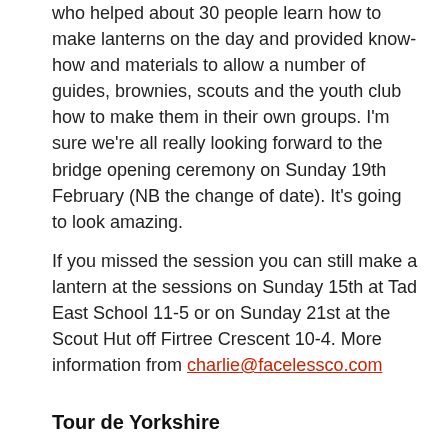who helped about 30 people learn how to make lanterns on the day and provided know-how and materials to allow a number of guides, brownies, scouts and the youth club how to make them in their own groups. I'm sure we're all really looking forward to the bridge opening ceremony on Sunday 19th February (NB the change of date). It's going to look amazing.
If you missed the session you can still make a lantern at the sessions on Sunday 15th at Tad East School 11-5 or on Sunday 21st at the Scout Hut off Firtree Crescent 10-4. More information from charlie@facelessco.com
Tour de Yorkshire